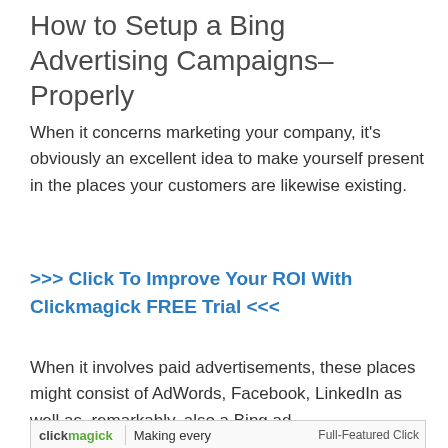How to Setup a Bing Advertising Campaigns– Properly
When it concerns marketing your company, it's obviously an excellent idea to make yourself present in the places your customers are likewise existing.
>>> Click To Improve Your ROI With Clickmagick FREE Trial <<<
When it involves paid advertisements, these places might consist of AdWords, Facebook, LinkedIn as well as, remarkably, also a Bing ad.
[Figure (screenshot): Clickmagick banner advertisement showing logo and 'Making every' text with 'Full-Featured Click' label]